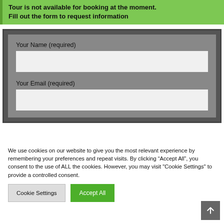Tour is not available for booking at the moment. Fill out the form to request information
[Figure (screenshot): Web form with two fields: Your Name (required) and Your Email (required), displayed on a gray background inside a dark border container]
We use cookies on our website to give you the most relevant experience by remembering your preferences and repeat visits. By clicking “Accept All”, you consent to the use of ALL the cookies. However, you may visit "Cookie Settings" to provide a controlled consent.
Cookie Settings
Accept All